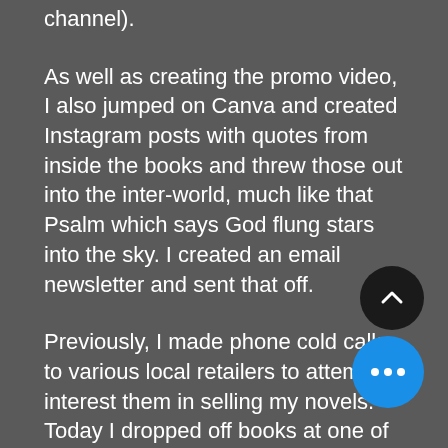channel).
As well as creating the promo video, I also jumped on Canva and created Instagram posts with quotes from inside the books and threw those out into the inter-world, much like that Psalm which says God flung stars into the sky. I created an email newsletter and sent that off.
Previously, I made phone cold calls to various local retailers to attempt to interest them in selling my novels. Today I dropped off books at one of those retailers and had phone and email conversations with three others. I touched base with the contact person in charge of the book signing and launch I